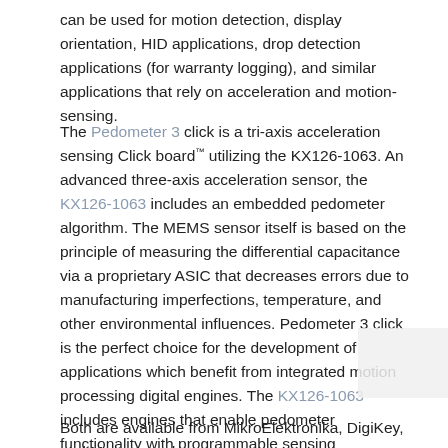can be used for motion detection, display orientation, HID applications, drop detection applications (for warranty logging), and similar applications that rely on acceleration and motion-sensing.
The Pedometer 3 click is a tri-axis acceleration sensing Click board™ utilizing the KX126-1063. An advanced three-axis acceleration sensor, the KX126-1063 includes an embedded pedometer algorithm. The MEMS sensor itself is based on the principle of measuring the differential capacitance via a proprietary ASIC that decreases errors due to manufacturing imperfections, temperature, and other environmental influences. Pedometer 3 click is the perfect choice for the development of applications which benefit from integrated motion processing digital engines. The KX126-1063 includes engines that enable pedometer functionality with programmable sensing thresholds and step detection, Directional Tap/Double-Tap™ detection, advanced orientation detection, and free fall detection. It also includes motion monitoring functionality, including wake-up on motion and back-to-sleep functionality with programmable thresholds.
Both are available from MikroElektronika, DigiKey, and Mouser, and are